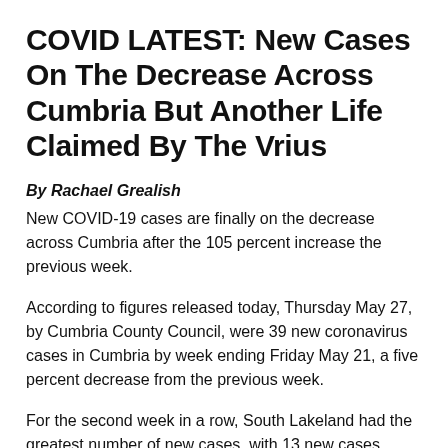COVID LATEST: New Cases On The Decrease Across Cumbria But Another Life Claimed By The Vrius
By Rachael Grealish
New COVID-19 cases are finally on the decrease across Cumbria after the 105 percent increase the previous week.
According to figures released today, Thursday May 27, by Cumbria County Council, were 39 new coronavirus cases in Cumbria by week ending Friday May 21, a five percent decrease from the previous week.
For the second week in a row, South Lakeland had the greatest number of new cases, with 13 new cases,